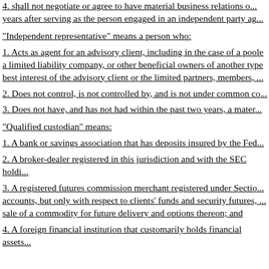4. shall not negotiate or agree to have material business relations o... years after serving as the person engaged in an independent party ag...
"Independent representative" means a person who:
1. Acts as agent for an advisory client, including in the case of a poole... a limited liability company, or other beneficial owners of another type... best interest of the advisory client or the limited partners, members, ...
2. Does not control, is not controlled by, and is not under common co...
3. Does not have, and has not had within the past two years, a mater...
"Qualified custodian" means:
1. A bank or savings association that has deposits insured by the Fed...
2. A broker-dealer registered in this jurisdiction and with the SEC holdi...
3. A registered futures commission merchant registered under Sectio... accounts, but only with respect to clients' funds and security futures,... sale of a commodity for future delivery and options thereon; and
4. A foreign financial institution that customarily holds financial assets...